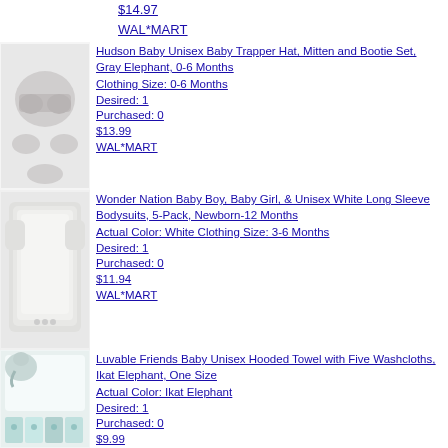$14.97
WAL*MART
[Figure (photo): Hudson Baby Unisex Baby Trapper Hat, Mitten and Bootie Set, Gray Elephant product image]
Hudson Baby Unisex Baby Trapper Hat, Mitten and Bootie Set, Gray Elephant, 0-6 Months
Clothing Size: 0-6 Months
Desired: 1
Purchased: 0
$13.99
WAL*MART
[Figure (photo): Wonder Nation Baby Boy, Baby Girl, & Unisex White Long Sleeve Bodysuits, 5-Pack product image]
Wonder Nation Baby Boy, Baby Girl, & Unisex White Long Sleeve Bodysuits, 5-Pack, Newborn-12 Months
Actual Color: White Clothing Size: 3-6 Months
Desired: 1
Purchased: 0
$11.94
WAL*MART
[Figure (photo): Luvable Friends Baby Unisex Hooded Towel with Five Washcloths, Ikat Elephant product image]
Luvable Friends Baby Unisex Hooded Towel with Five Washcloths, Ikat Elephant, One Size
Actual Color: Ikat Elephant
Desired: 1
Purchased: 0
$9.99
WAL*MART